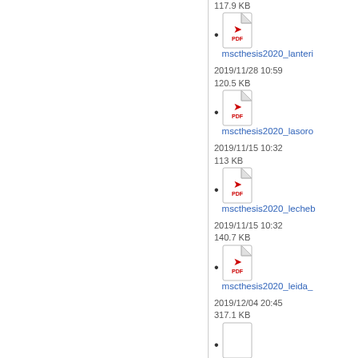117.9 KB
mscthesis2020_lanteri
2019/11/28 10:59
120.5 KB
mscthesis2020_lasoro
2019/11/15 10:32
113 KB
mscthesis2020_lecheb
2019/11/15 10:32
140.7 KB
mscthesis2020_leida_
2019/12/04 20:45
317.1 KB